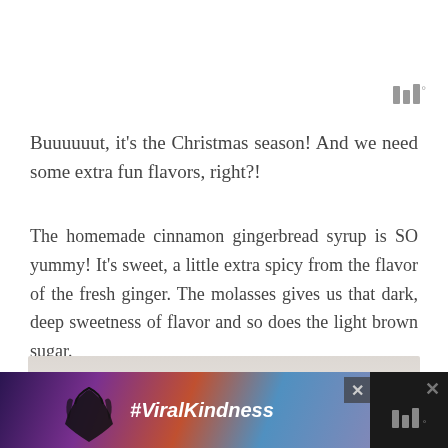[Figure (logo): Website logo with three vertical bars of varying heights and a degree symbol]
Buuuuuut, it's the Christmas season! And we need some extra fun flavors, right?!
The homemade cinnamon gingerbread syrup is SO yummy! It's sweet, a little extra spicy from the flavor of the fresh ginger. The molasses gives us that dark, deep sweetness of flavor and so does the light brown sugar.
[Figure (photo): Partial view of a photo with a light beige/grey background]
[Figure (screenshot): Advertisement banner with #ViralKindness showing hands forming a heart shape against a colorful sky background, with website logo on the right]